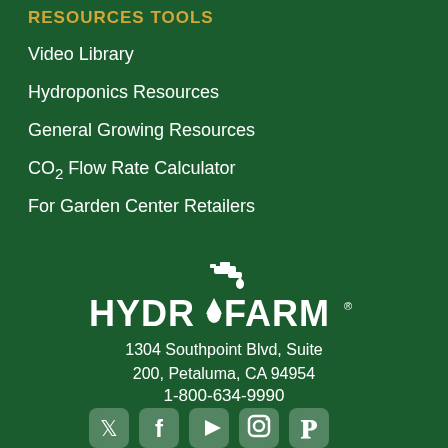RESOURCES TOOLS
Video Library
Hydroponics Resources
General Growing Resources
CO₂ Flow Rate Calculator
For Garden Center Retailers
[Figure (logo): Hydrofarm logo with faucet icon in white]
1304 Southpoint Blvd, Suite 200, Petaluma, CA 94954
1-800-634-9990
[Figure (illustration): Social media icons: Twitter, Facebook, YouTube, Instagram, Pinterest]